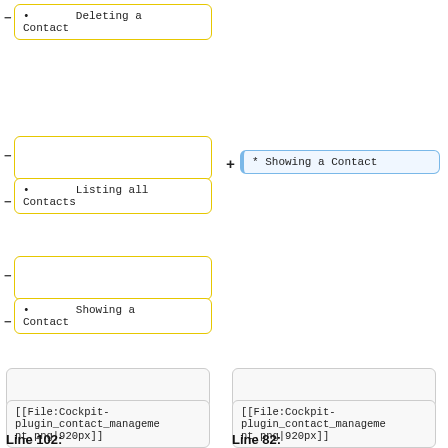• Deleting a Contact
• Listing all Contacts
• Showing a Contact
* Showing a Contact
[[File:Cockpit-plugin_contact_management.png|920px]]
Line 102:
[[File:Cockpit-plugin_contact_management.png|920px]]
Line 82: